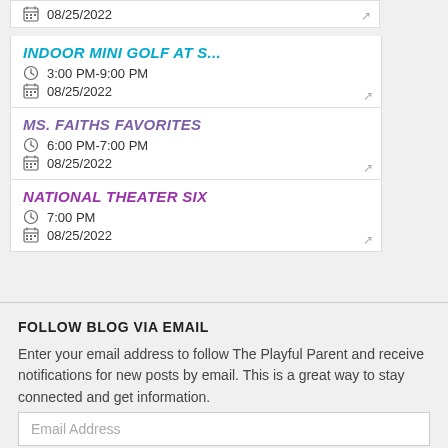08/25/2022
INDOOR MINI GOLF AT S... | 3:00 PM-9:00 PM | 08/25/2022
MS. FAITHS FAVORITES | 6:00 PM-7:00 PM | 08/25/2022
NATIONAL THEATER SIX | 7:00 PM | 08/25/2022
FOLLOW BLOG VIA EMAIL
Enter your email address to follow The Playful Parent and receive notifications for new posts by email. This is a great way to stay connected and get information.
Email Address